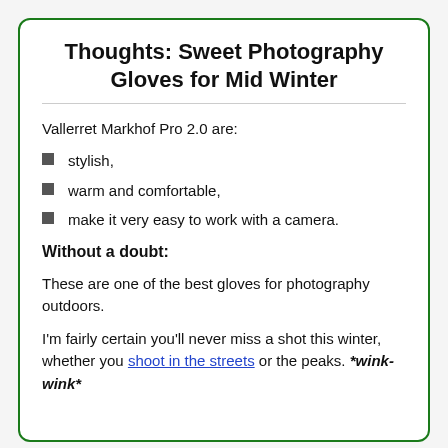Thoughts: Sweet Photography Gloves for Mid Winter
Vallerret Markhof Pro 2.0 are:
stylish,
warm and comfortable,
make it very easy to work with a camera.
Without a doubt:
These are one of the best gloves for photography outdoors.
I'm fairly certain you'll never miss a shot this winter, whether you shoot in the streets or the peaks. *wink-wink*